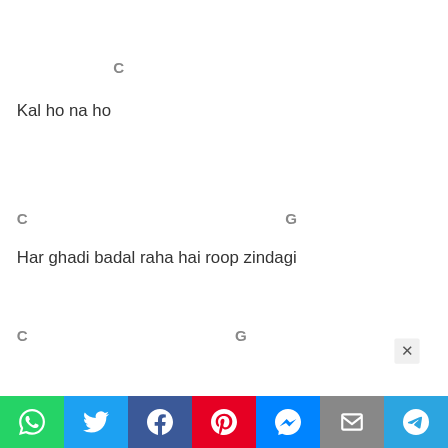C
Kal ho na ho
C
G
Har ghadi badal raha hai roop zindagi
C
G
[Figure (screenshot): Social media share bar with WhatsApp, Twitter, Facebook, Pinterest, Messenger, Email, Telegram icons]